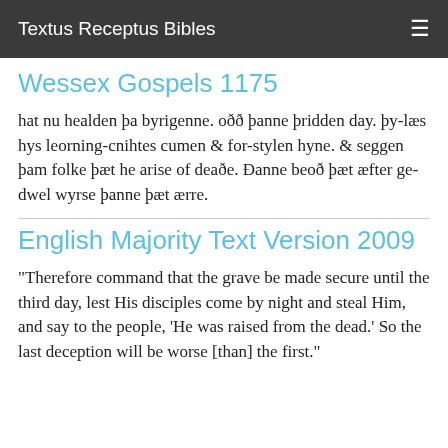Textus Receptus Bibles
Wessex Gospels 1175
hat nu healden þa byrigenne. oðð þanne þridden day. þy-læs hys leorning-cnihtes cumen & for-stylen hyne. & seggen þam folke þæt he arise of deaðe. Ðanne beoð þæt æfter ge-dwel wyrse þanne þæt ærre.
English Majority Text Version 2009
"Therefore command that the grave be made secure until the third day, lest His disciples come by night and steal Him, and say to the people, 'He was raised from the dead.' So the last deception will be worse [than] the first."